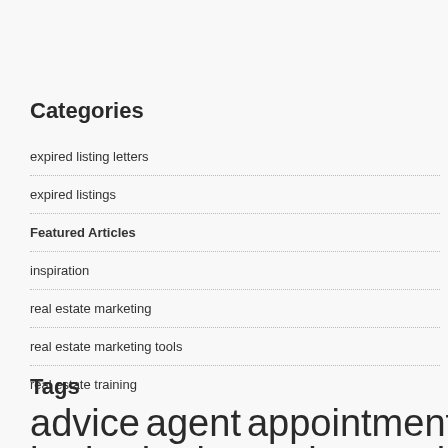Categories
expired listing letters
expired listings
Featured Articles
inspiration
real estate marketing
real estate marketing tools
real estate training
Tags
advice agent appointments boring boring real estate broker